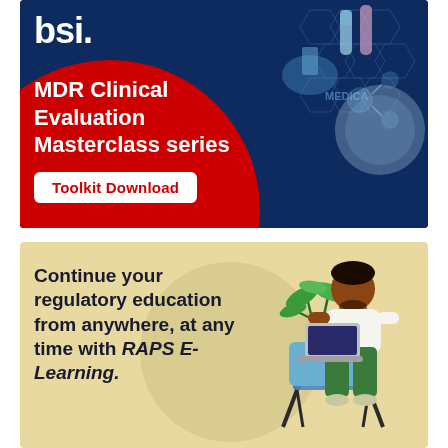[Figure (illustration): BSI advertisement banner with dark blue medical/science background (hexagons, test tubes, molecular structures), large red circle overlay, BSI logo in white, text 'MDR Clinical Evaluation Masterclass series', and a white rounded button 'Toolkit Download' in red text.]
[Figure (illustration): RAPS E-Learning advertisement banner with yellow/cream background, circular decorative element, illustration of a Black man sitting on a blue chair working on a laptop with a plant beside him, text 'Continue your regulatory education from anywhere, at any time with RAPS E-Learning.']